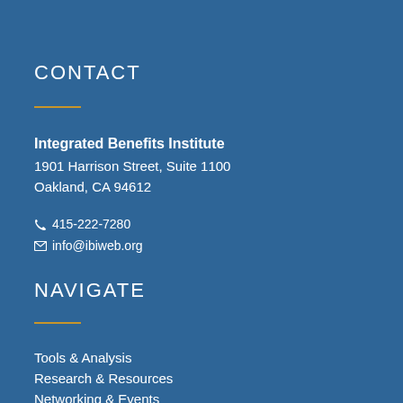CONTACT
Integrated Benefits Institute
1901 Harrison Street, Suite 1100
Oakland, CA 94612

📞 415-222-7280
✉ info@ibiweb.org
NAVIGATE
Tools & Analysis
Research & Resources
Networking & Events